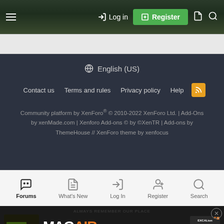Log in | Register
🌐 English (US)
Contact us  Terms and rules  Privacy policy  Help
Community platform by XenForo® © 2010-2022 XenForo Ltd. | Add-Ons by xenMade.com | Xenforo Add-ons © by ©XenTR | Add-ons by ThemeHouse // XenForo theme by xenfocus
Forums  What's New  Log In  Register  Search
[Figure (screenshot): MAGAIR advertisement banner with Excalibur logo and Learn More button. Tagline: Lightweight Design. Heavyweight Performance.]